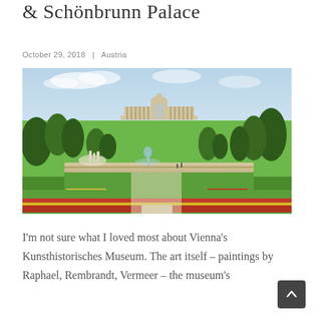& Schönbrunn Palace
October 29, 2018  |  Austria
[Figure (photo): Photograph of the gardens of Schönbrunn Palace in Vienna, Austria, showing manicured flower beds in the foreground, a large fountain, green lawns, trees, and the Gloriette colonnade structure on the hilltop in the background under a partly cloudy sky.]
I'm not sure what I loved most about Vienna's Kunsthistorisches Museum. The art itself – paintings by Raphael, Rembrandt, Vermeer – the museum's